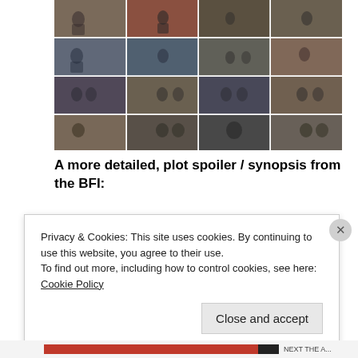[Figure (photo): A collage of 16 film stills arranged in a 4x4 grid, showing various scenes with characters in military uniforms and period clothing, in color.]
A more detailed, plot spoiler / synopsis from the BFI:
Privacy & Cookies: This site uses cookies. By continuing to use this website, you agree to their use.
To find out more, including how to control cookies, see here: Cookie Policy
Close and accept